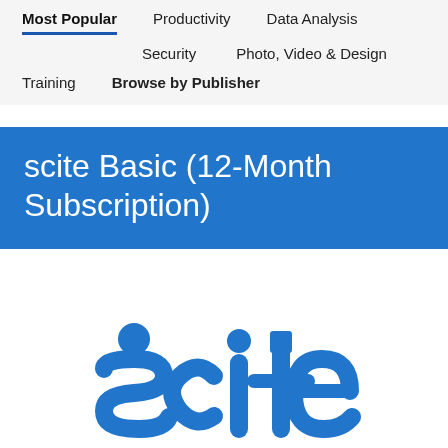Most Popular
Productivity
Data Analysis
Security
Photo, Video & Design
Training
Browse by Publisher
scite Basic (12-Month Subscription)
[Figure (logo): scite logo in blue at the bottom of the page, partially visible]